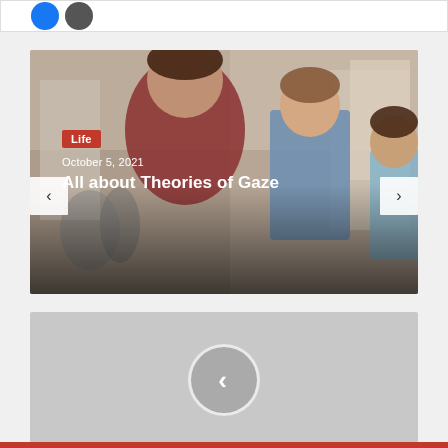[Figure (screenshot): Top bar with blue Facebook circle icon and gray circle icon]
[Figure (photo): Slideshow card showing the distracted boyfriend meme photo with two people on a city street]
Life
October 5, 2021
All about Theories of Gaze
[Figure (screenshot): Gray placeholder card with a circular back (left chevron) navigation button in the center]
[Figure (other): Red footer bar at bottom of page]